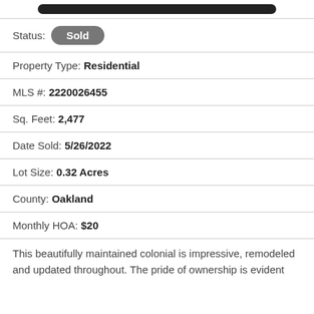[Figure (other): Black rounded rectangle bar at top of page]
Status: Sold
Property Type: Residential
MLS #: 2220026455
Sq. Feet: 2,477
Date Sold: 5/26/2022
Lot Size: 0.32 Acres
County: Oakland
Monthly HOA: $20
This beautifully maintained colonial is impressive, remodeled and updated throughout. The pride of ownership is evident